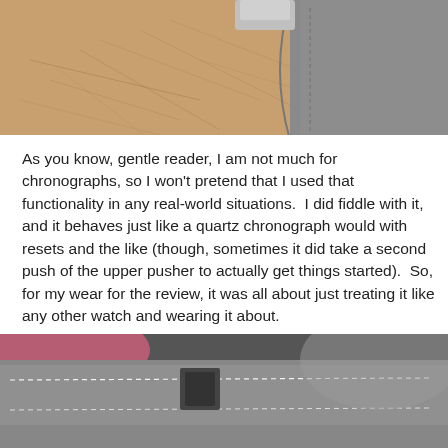[Figure (photo): Close-up photo of a person's wrist wearing a watch with a grey fabric/suede strap, showing the underside of the wrist and strap detail with stitching.]
As you know, gentle reader, I am not much for chronographs, so I won't pretend that I used that functionality in any real-world situations.  I did fiddle with it, and it behaves just like a quartz chronograph would with resets and the like (though, sometimes it did take a second push of the upper pusher to actually get things started).  So, for my wear for the review, it was all about just treating it like any other watch and wearing it about.
[Figure (photo): Close-up photo of a grey watch strap with white stitching, showing the clasp/buckle area against a blurred pink and grey background.]